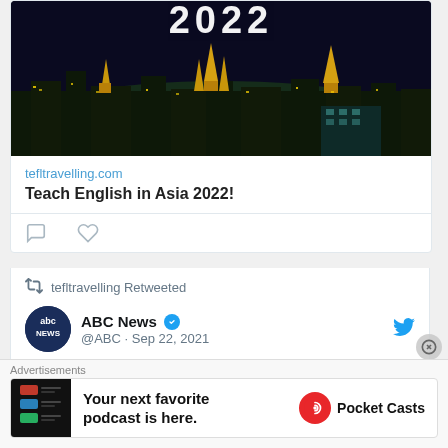[Figure (photo): Night cityscape of Bangkok/Asia with golden temples lit up, large '2022' text overlay at top]
tefltravelling.com
Teach English in Asia 2022!
[Figure (infographic): Twitter tweet interaction icons: comment bubble and heart]
tefltravelling Retweeted
[Figure (logo): ABC News circular logo with dark blue background]
ABC News @ABC · Sep 22, 2021
"Wow, that's so amazing."
Advertisements
[Figure (screenshot): Pocket Casts app advertisement: 'Your next favorite podcast is here.' with Pocket Casts logo]